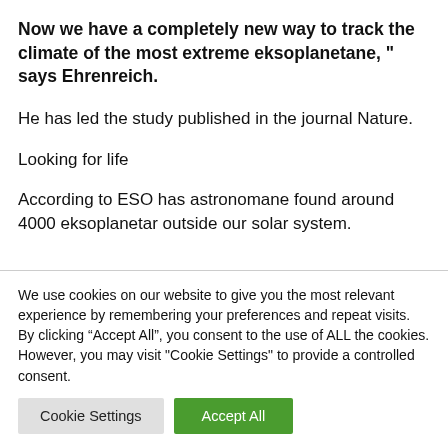Now we have a completely new way to track the climate of the most extreme eksoplanetane, " says Ehrenreich.
He has led the study published in the journal Nature.
Looking for life
According to ESO has astronomane found around 4000 eksoplanetar outside our solar system.
We use cookies on our website to give you the most relevant experience by remembering your preferences and repeat visits. By clicking “Accept All”, you consent to the use of ALL the cookies. However, you may visit "Cookie Settings" to provide a controlled consent.